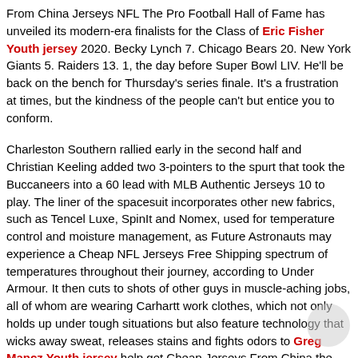From China Jerseys NFL The Pro Football Hall of Fame has unveiled its modern-era finalists for the Class of Eric Fisher Youth jersey 2020. Becky Lynch 7. Chicago Bears 20. New York Giants 5. Raiders 13. 1, the day before Super Bowl LIV. He'll be back on the bench for Thursday's series finale. It's a frustration at times, but the kindness of the people can't but entice you to conform.
Charleston Southern rallied early in the second half and Christian Keeling added two 3-pointers to the spurt that took the Buccaneers into a 60 lead with MLB Authentic Jerseys 10 to play. The liner of the spacesuit incorporates other new fabrics, such as Tencel Luxe, SpinIt and Nomex, used for temperature control and moisture management, as Future Astronauts may experience a Cheap NFL Jerseys Free Shipping spectrum of temperatures throughout their journey, according to Under Armour. It then cuts to shots of other guys in muscle-aching jobs, all of whom are wearing Carhartt work clothes, which not only holds up under tough situations but also feature technology that wicks away sweat, releases stains and fights odors to Greg Mancz Youth jersey help get Cheap Jerseys From China the job done when the mercury rises.